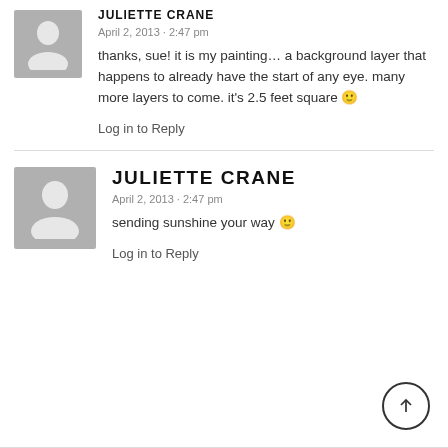[Figure (illustration): Gray avatar placeholder icon (person silhouette) for first comment]
JULIETTE CRANE
April 2, 2013 · 2:47 pm
thanks, sue! it is my painting… a background layer that happens to already have the start of any eye. many more layers to come. it's 2.5 feet square 🙂
Log in to Reply
[Figure (illustration): Gray avatar placeholder icon (person silhouette) for second comment]
JULIETTE CRANE
April 2, 2013 · 2:47 pm
sending sunshine your way 🙂
Log in to Reply